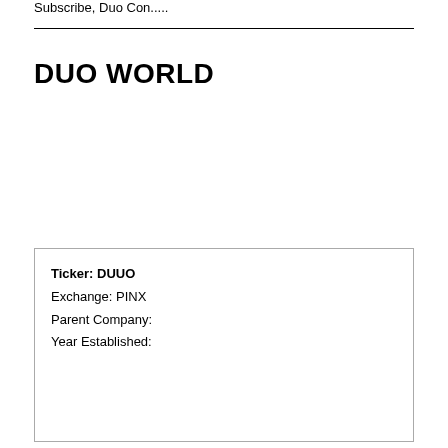Subscribe, Duo Con.....
DUO WORLD
Ticker: DUUO
Exchange: PINX
Parent Company:
Year Established: